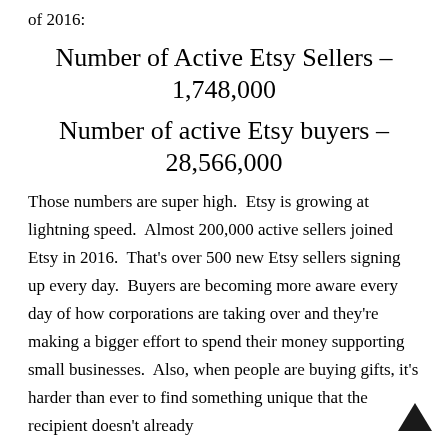of 2016:
Number of Active Etsy Sellers – 1,748,000
Number of active Etsy buyers – 28,566,000
Those numbers are super high.  Etsy is growing at lightning speed.  Almost 200,000 active sellers joined Etsy in 2016.  That's over 500 new Etsy sellers signing up every day.  Buyers are becoming more aware every day of how corporations are taking over and they're making a bigger effort to spend their money supporting small businesses.  Also, when people are buying gifts, it's harder than ever to find something unique that the recipient doesn't already